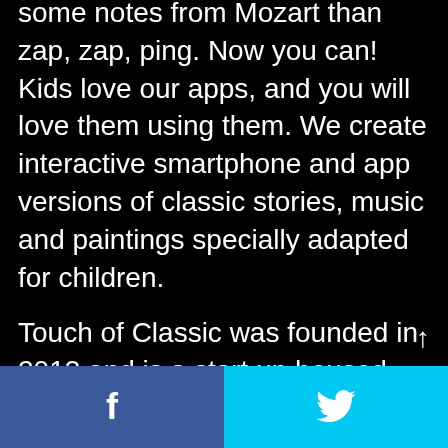some notes from Mozart than zap, zap, ping. Now you can! Kids love our apps, and you will love them using them. We create interactive smartphone and app versions of classic stories, music and paintings specially adapted for children.
Touch of Classic was founded in 2013 and is a start up housed within Wayra, Telefonica's accelerator scheme, in Madrid, Spain. We are passionate about simulating young children with quality content that entertains and educates.
Follow us and be part of the adventure...
f  [Twitter bird icon]